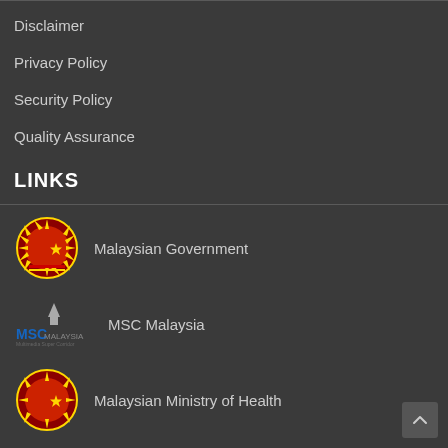Disclaimer
Privacy Policy
Security Policy
Quality Assurance
LINKS
Malaysian Government
MSC Malaysia
Malaysian Ministry of Health
Info Sihat
MySMS